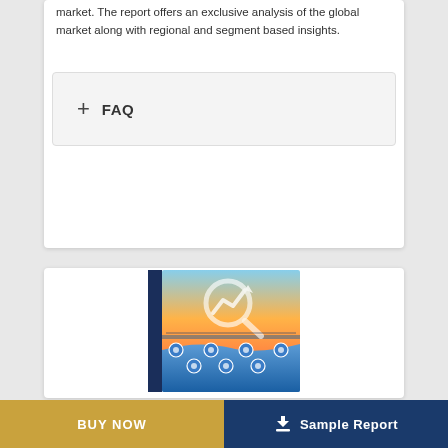market. The report offers an exclusive analysis of the global market along with regional and segment based insights.
+ FAQ
[Figure (illustration): Market research report cover image showing a magnifying glass with chart/trend arrow icon over a blue and sunset-sky background with analytical data icons]
BUY NOW
Sample Report